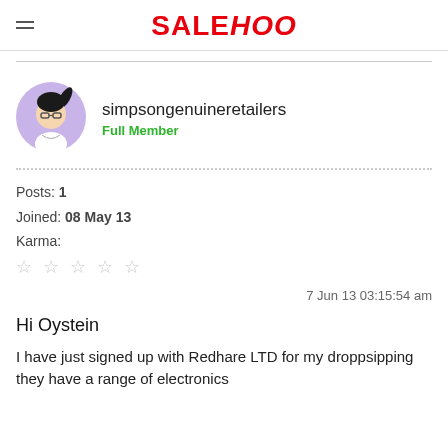SALEHOO
[Figure (illustration): Cartoon avatar of a woman with ponytail and glasses on a purple circle background]
simpsongenuineretailers
Full Member
Posts: 1
Joined: 08 May 13
Karma:
☆ ☆ ☆ ☆ ☆
7 Jun 13 03:15:54 am
Hi Oystein
I have just signed up with Redhare LTD for my droppsipping they have a range of electronics